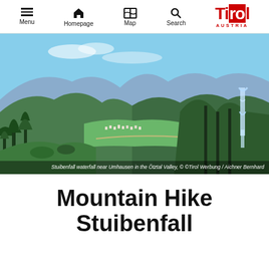Menu | Homepage | Map | Search | Tirol AUSTRIA
[Figure (photo): Aerial mountain landscape photo showing Stuibenfall waterfall near Umhausen in the Ötztal Valley, with green forested slopes, a valley town, and blue sky]
Stuibenfall waterfall near Umhausen in the Ötztal Valley, © ©Tirol Werbung / Aichner Bernhard
Mountain Hike Stuibenfall